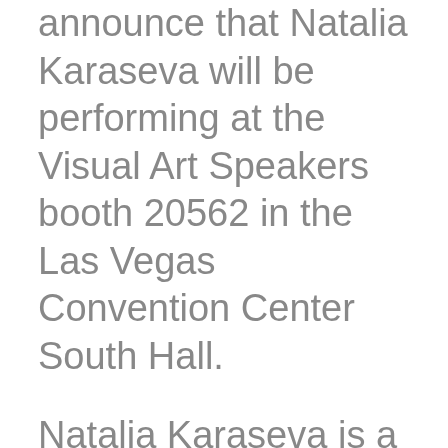announce that Natalia Karaseva will be performing at the Visual Art Speakers booth 20562 in the Las Vegas Convention Center South Hall.
Natalia Karaseva is a Russian-born American singer-songwriter performing her original inspirational songs and unique soulful arrangements of her own musical influences. A